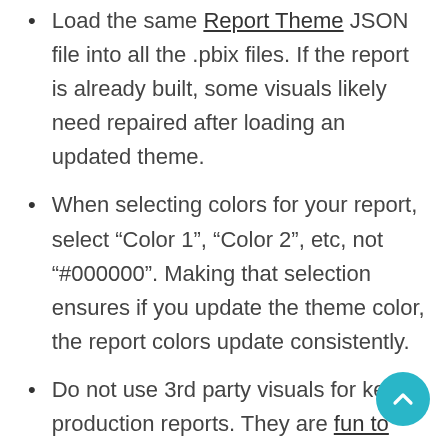Load the same Report Theme JSON file into all the .pbix files. If the report is already built, some visuals likely need repaired after loading an updated theme.
When selecting colors for your report, select “Color 1”, “Color 2”, etc, not “#000000”. Making that selection ensures if you update the theme color, the report colors update consistently.
Do not use 3rd party visuals for key production reports. They are fun to play with, but it’s less risky to use the Microsoft